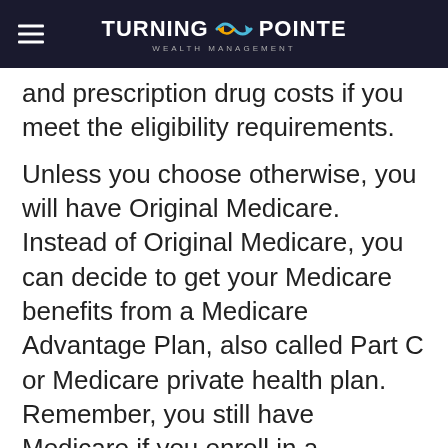Turning Pointe Wealth Management
and prescription drug costs if you meet the eligibility requirements.
Unless you choose otherwise, you will have Original Medicare. Instead of Original Medicare, you can decide to get your Medicare benefits from a Medicare Advantage Plan, also called Part C or Medicare private health plan. Remember, you still have Medicare if you enroll in a Medicare Advantage Plan. This means that you must still pay your monthly Part B premium (and your Part A premium, if you have one). Each Medicare Advantage Plan must provide all Part